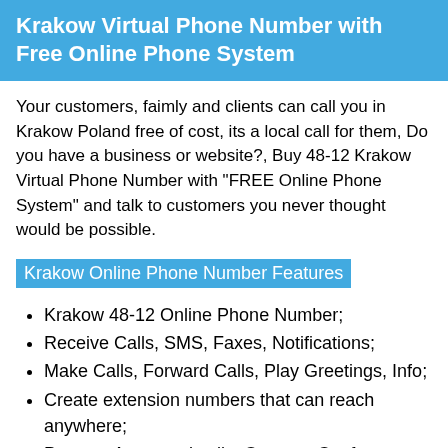Krakow Virtual Phone Number with Free Online Phone System
Your customers, faimly and clients can call you in Krakow Poland free of cost, its a local call for them, Do you have a business or website?, Buy 48-12 Krakow Virtual Phone Number with "FREE Online Phone System" and talk to customers you never thought would be possible.
Krakow Online Phone Number Features
Krakow 48-12 Online Phone Number;
Receive Calls, SMS, Faxes, Notifications;
Make Calls, Forward Calls, Play Greetings, Info;
Create extension numbers that can reach anywhere;
Process Answered calls, Queues, Conference, Voicemail;